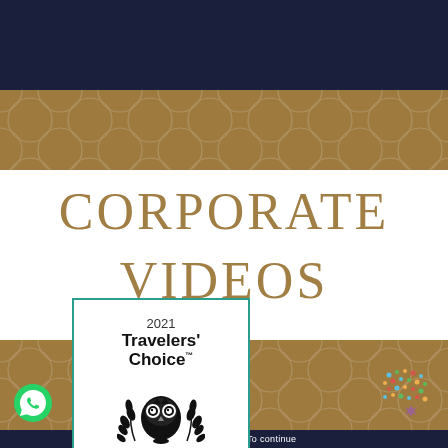[Figure (other): Dark navy blue top banner strip]
[Figure (other): Gold/brown decorative band with geometric Moroccan pattern overlay]
CORPORATE VIDEOS
[Figure (logo): TripAdvisor 2021 Travelers' Choice award badge with owl logo in a teal-bordered white box]
[Figure (other): Gold/brown decorative band with geometric Moroccan pattern overlay]
[Figure (other): WhatsApp icon bottom left]
[Figure (other): Colorful dots decoration bottom right]
from your connection.  To continue